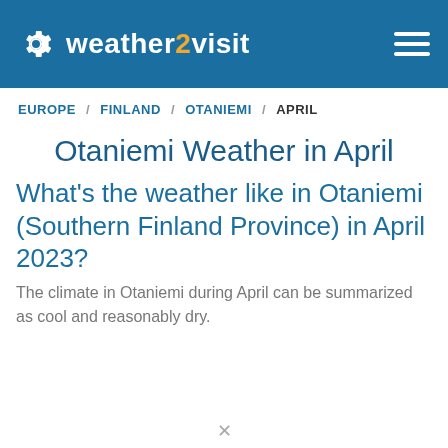weather2visit
EUROPE / FINLAND / OTANIEMI / APRIL
Otaniemi Weather in April
What's the weather like in Otaniemi (Southern Finland Province) in April 2023?
The climate in Otaniemi during April can be summarized as cool and reasonably dry.